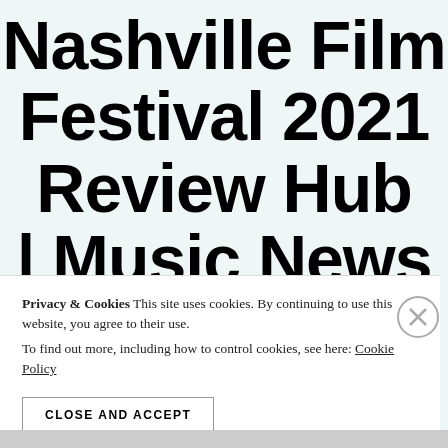Nashville Film Festival 2021 Review Hub | Music News &
Privacy & Cookies This site uses cookies. By continuing to use this website, you agree to their use.
To find out more, including how to control cookies, see here: Cookie Policy
CLOSE AND ACCEPT